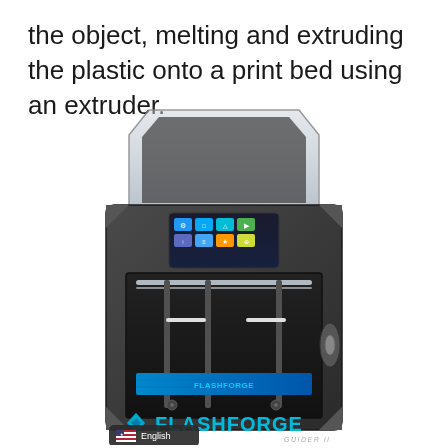the object, melting and extruding the plastic onto a print bed using an extruder.
[Figure (photo): Flashforge Guider II 3D printer shown from the front. The printer has a dark gray/black enclosure with a transparent top cover, a color touchscreen display at the top center showing a grid of colored icons, and an open front view revealing the print chamber with horizontal guide rods, vertical columns, a blue print bed with Flashforge branding, and a filament spool on the right side. The Flashforge logo and 'GUIDER II' text appear at the bottom. A US flag icon with 'English' text label appears in the bottom left corner.]